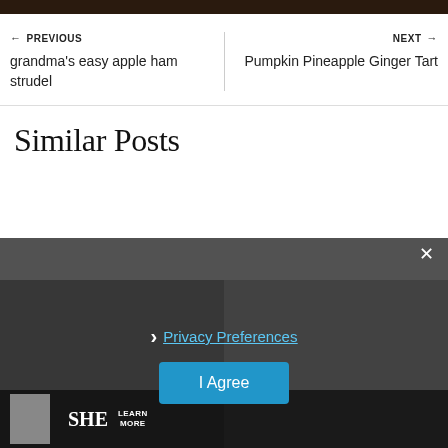[Figure (photo): Dark top image strip]
← PREVIOUS
grandma's easy apple ham strudel
NEXT →
Pumpkin Pineapple Ginger Tart
Similar Posts
[Figure (photo): Grid of similar post thumbnails with dark overlay]
Privacy Preferences
I Agree